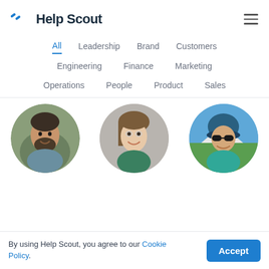[Figure (logo): Help Scout logo with blue diagonal lines icon and bold dark text]
All | Leadership | Brand | Customers | Engineering | Finance | Marketing | Operations | People | Product | Sales
[Figure (photo): Three circular profile photos of people: man with beard outdoors, woman smiling, woman with sunglasses outdoors]
By using Help Scout, you agree to our Cookie Policy.